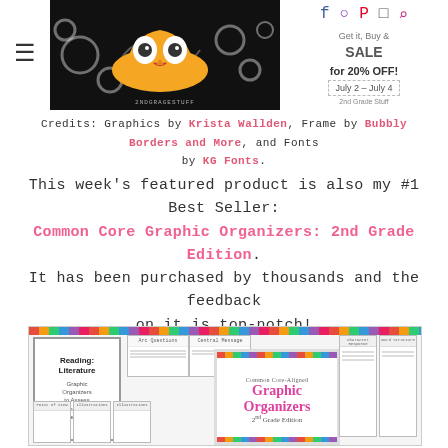[Figure (screenshot): Website header banner showing an owl logo on black swirly background on left, social media icons (Facebook, Instagram, Pinterest, cart, search) and a sale announcement 'July 2 - July 4 for 20% OFF! 2nd Grade Stuff' on the right]
Credits: Graphics by Krista Wallden, Frame by Bubbly Borders and More, and Fonts by KG Fonts.
This week's featured product is also my #1 Best Seller: Common Core Graphic Organizers: 2nd Grade Edition. It has been purchased by thousands and the feedback on it is top-notch!
[Figure (screenshot): Product image showing Common Core-Aligned Graphic Organizers 2nd Grade Edition with colorful striped borders, showing multiple worksheet pages including Reading: Literature cover page and various graphic organizer sheets]